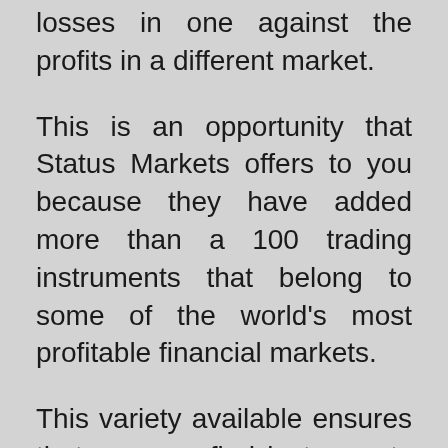losses in one against the profits in a different market.
This is an opportunity that Status Markets offers to you because they have added more than a 100 trading instruments that belong to some of the world's most profitable financial markets.
This variety available ensures that you can find instruments that fit your risk appetite and capital limitations and allow you to achieve your goals from a single platform. Some of the markets you can trade in include: